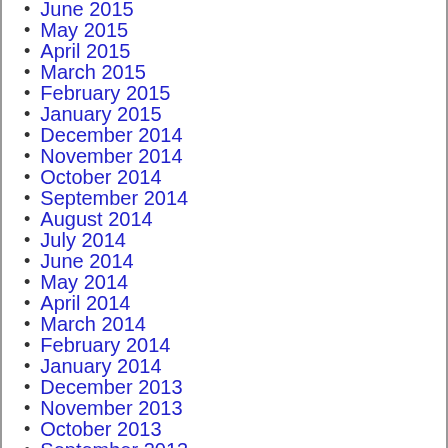June 2015
May 2015
April 2015
March 2015
February 2015
January 2015
December 2014
November 2014
October 2014
September 2014
August 2014
July 2014
June 2014
May 2014
April 2014
March 2014
February 2014
January 2014
December 2013
November 2013
October 2013
September 2013